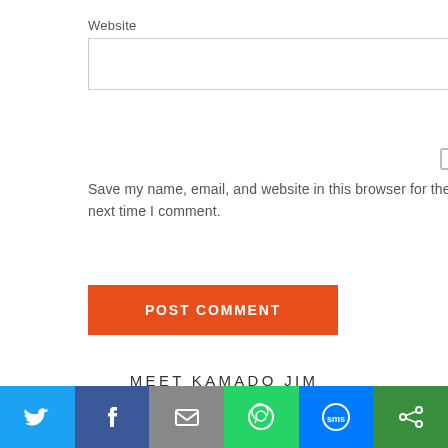Website
Save my name, email, and website in this browser for the next time I comment.
POST COMMENT
MEET KAMADO JIM
I take barbecue and other grilled foods to another level, courtesy of the world's oldest and most perfectly designed grill / smoker: the Kamado. I'll show you how to do the same! Read more.
[Figure (illustration): Generic user avatar icon - grey circle with silhouette]
[Figure (infographic): Social share bar with Twitter, Facebook, Email, WhatsApp, SMS, and share icons]